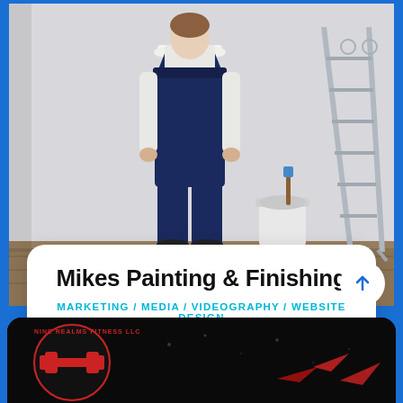[Figure (photo): A painter in dark navy blue overalls standing with back turned, facing a white wall. A white paint bucket with a brush sits on the floor nearby, and a metal step ladder leans against the wall on the right side.]
Mikes Painting & Finishing
MARKETING / MEDIA / VIDEOGRAPHY / WEBSITE DESIGN
[Figure (logo): Nine Realms Fitness LLC logo — a red dumbbell/barbell icon in a circular badge with black background and red arrow accents, with scattered particle/dust effect]